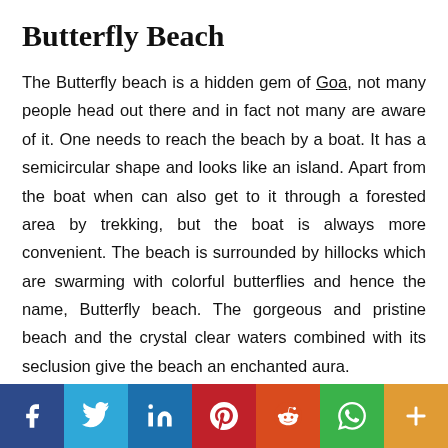Butterfly Beach
The Butterfly beach is a hidden gem of Goa, not many people head out there and in fact not many are aware of it. One needs to reach the beach by a boat. It has a semicircular shape and looks like an island. Apart from the boat when can also get to it through a forested area by trekking, but the boat is always more convenient. The beach is surrounded by hillocks which are swarming with colorful butterflies and hence the name, Butterfly beach. The gorgeous and pristine beach and the crystal clear waters combined with its seclusion give the beach an enchanted aura.
[Figure (other): Social sharing bar with icons for Facebook, Twitter, LinkedIn, Pinterest, Reddit, WhatsApp, and More]